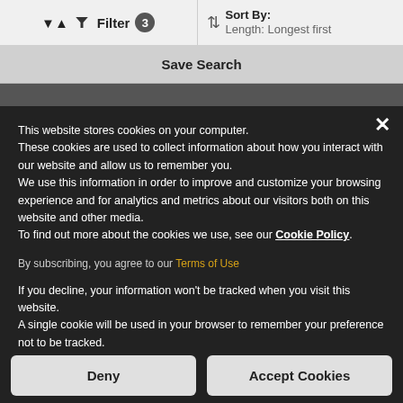Filter 3 | Sort By: Length: Longest first
Save Search
This website stores cookies on your computer. These cookies are used to collect information about how you interact with our website and allow us to remember you. We use this information in order to improve and customize your browsing experience and for analytics and metrics about our visitors both on this website and other media. To find out more about the cookies we use, see our Cookie Policy.
By subscribing, you agree to our Terms of Use
If you decline, your information won't be tracked when you visit this website. A single cookie will be used in your browser to remember your preference not to be tracked.
Deny
Accept Cookies